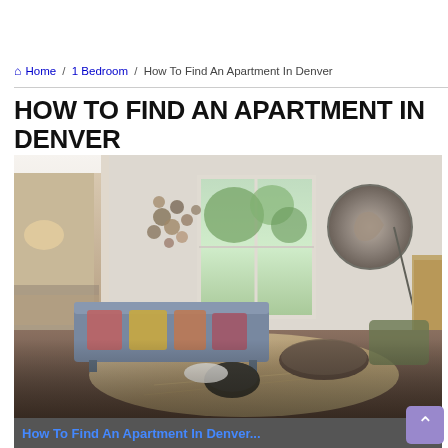🏠 Home / 1 Bedroom / How To Find An Apartment In Denver
HOW TO FIND AN APARTMENT IN DENVER
[Figure (photo): Interior photo of a modern apartment living room with a grey sofa, decorative pillows, wall-mounted decorative plates, a sliding glass door leading to a balcony with green trees visible outside, a round decorative wall mirror on the right, and a view into the bedroom on the left. Dark hardwood floors with a patterned area rug and a round coffee table.]
How To Find An Apartment In Denver...